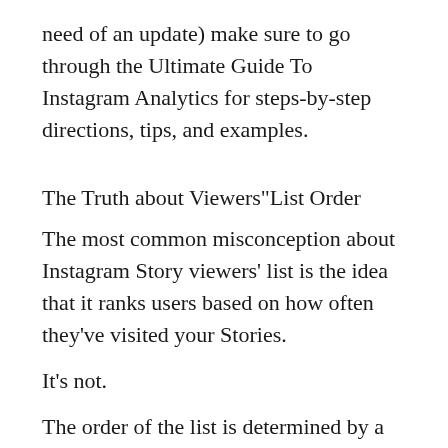need of an update) make sure to go through the Ultimate Guide To Instagram Analytics for steps-by-step directions, tips, and examples.
The Truth about Viewers"List Order
The most common misconception about Instagram Story viewers' list is the idea that it ranks users based on how often they've visited your Stories.
It's not.
The order of the list is determined by a secret algorithm that hasn't yet been released to the public.
At one time, viewers were categorized in